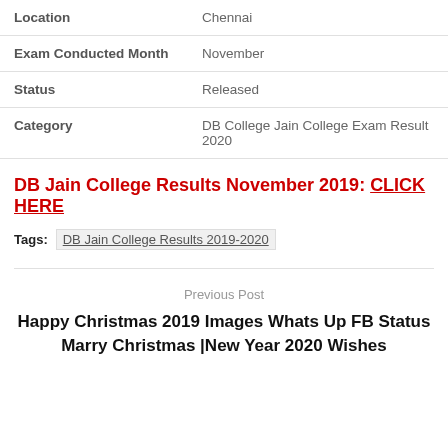| Location | Chennai |
| Exam Conducted Month | November |
| Status | Released |
| Category | DB College Jain College Exam Result 2020 |
DB Jain College Results November 2019: CLICK HERE
Tags: DB Jain College Results 2019-2020
Previous Post
Happy Christmas 2019 Images Whats Up FB Status Marry Christmas |New Year 2020 Wishes